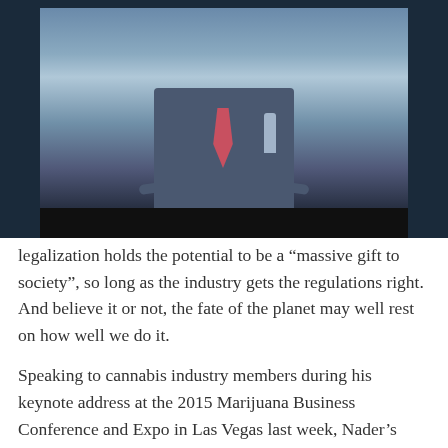[Figure (photo): A person in a suit and tie speaking at a conference, standing at what appears to be a podium or table, with a blue-lit background and a water bottle visible.]
legalization holds the potential to be a “massive gift to society”, so long as the industry gets the regulations right. And believe it or not, the fate of the planet may well rest on how well we do it.
Speaking to cannabis industry members during his keynote address at the 2015 Marijuana Business Conference and Expo in Las Vegas last week, Nader’s advice was this “Implement the highest standards of industry regulation to avoid the corruption seen elsewhere in society”.
Nader believes the war on drugs has been a “colossal failure” that has ruined countless lives. Citing a litany of corruption & hypocrisy ranging from Wall Street bankers escaping justice for the